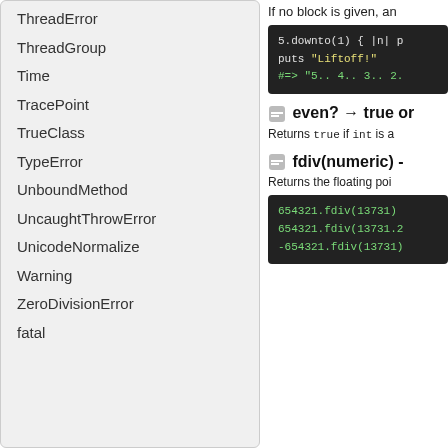ThreadError
ThreadGroup
Time
TracePoint
TrueClass
TypeError
UnboundMethod
UncaughtThrowError
UnicodeNormalize
Warning
ZeroDivisionError
fatal
If no block is given, an
[Figure (screenshot): Dark code block showing: 5.downto(1) { |n| p
puts "Liftoff!"
#=> "5.. 4.. 3.. 2.]
even? → true or
Returns true if int is a
fdiv(numeric) -
Returns the floating poi
[Figure (screenshot): Dark code block showing:
654321.fdiv(13731)
654321.fdiv(13731.2
-654321.fdiv(13731)]